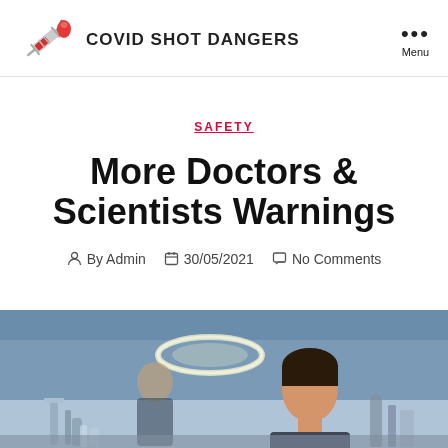COVID SHOT DANGERS
SAFETY
More Doctors & Scientists Warnings
By Admin  30/05/2021  No Comments
[Figure (photo): Two scientists or doctors working in a laboratory setting, with laboratory equipment, bright overhead light ring, and a blue-toned background.]